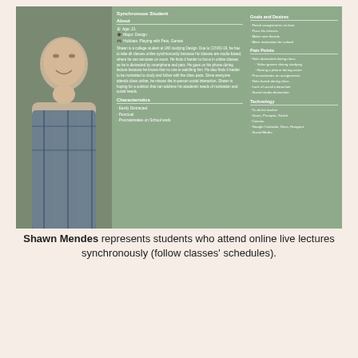[Figure (photo): Photo of a smiling young man in a blue plaid shirt, persona card for Shawn Mendes]
Synchronous Student
About
Age: 21
Major: Design
Hobbies: Playing with Pets, Games
Shawn is a college student at UW studying Design. Due to COVID-19, he has to take all classes online synchronously because his classes are studio-based, where he can annotate on zoom. He finds it harder to focus in online classes as he is distracted by smartphone and pets. He goes on his phone during lecture because he knows that no one is watching him. He also finds it harder to be motivated to study and follow with the class pace. Since everyone attends class online, he misses the in-person social interaction. Shawn is hoping for a solution that can address his academic needs of motivation and social needs.
Characteristics
Easily Distracted
Punctual
Procrastinates on School work
Goals and Desires
Finish assignments on time
Pass his classes
Make new friends
More motivation for school
Pain Points
Gets distracted during class
Video games during studying
Having a phone during zoom
Procrastinates on assignments
Gets bored during class
Lack of social interaction
Social media distraction
Technology
To do list tracker
Zoom, Panopto, Twitch
Canvas
Google Calendar, Docs, Hangout
Social Media
Shawn Mendes represents students who attend online live lectures synchronously (follow classes' schedules).
[Figure (photo): Photo of a woman in an indoor setting, persona card for Marie Kim]
Marie Kim
Asynchronous Student
About
Age: 21
Major: Informatics
Hobbies: Reading, Biking, Fitness
Marie Kim is a junior at UW Seattle...
Goals and Desires
Increased motivation for learning
More structured and efficient online class
Be able to see due dates more clearly